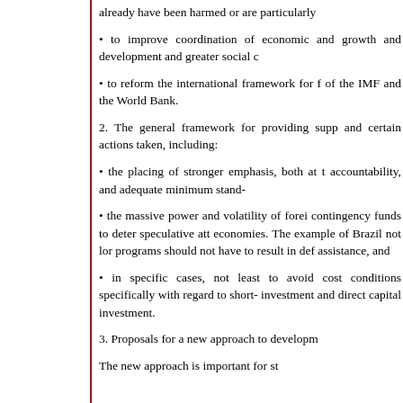already have been harmed or are particularly
• to improve coordination of economic and growth and development and greater social c
• to reform the international framework for f of the IMF and the World Bank.
2. The general framework for providing supp and certain actions taken, including:
• the placing of stronger emphasis, both at t accountability, and adequate minimum stand-
• the massive power and volatility of forei contingency funds to deter speculative att economies. The example of Brazil not lor programs should not have to result in def assistance, and
• in specific cases, not least to avoid cost conditions specifically with regard to short- investment and direct capital investment.
3. Proposals for a new approach to developm
The new approach is important for st